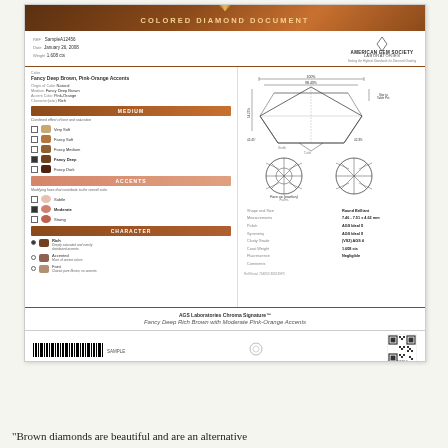COLORED DIAMOND DOCUMENT
| Field | Value |
| --- | --- |
| REF | SampleA12456 |
| Date | January 26, 2008 |
| Weight | 1.608 cts |
[Figure (illustration): American Gem Society Laboratories logo and diamond diagram showing side profile and top/bottom views of a Round Brilliant diamond with measurements]
| Property | Value |
| --- | --- |
| Shape and Size | Round Brilliant |
| Measurements | 7.46 - 7.51 x 4.62 mm |
| Polish | AGS Ideal 0 |
| Symmetry | AGS Ideal 0 |
| Clarity Grade | (VS2) AGS 4 |
| Carat Weight | 1.608 cts |
| Fluorescence | Negligible |
| Comments |  |
Color: Fancy Deep Brown, Pink-Orange Accents
Origin of Color: Natural
Medium: Fancy Deep Brown
Accent Color: Pink-Orange
Character(istic): Rich
MEDIUM
Very Soft
Fancy Soft
Fancy Medium
Fancy Deep (selected)
Fancy Dark
ACCENTS
Subtle
Moderate (selected)
Strong
CHARACTER
Rich (selected) - Deeply saturated and evenly distributed accents
Accented - More of accent colors
Faint - Classic pure Brown, no accents
AGS Laboratories Chroma Signature™
Fancy Deep Rich Brown with Moderate Pink-Orange Accents
For more information about the AGS Laboratories Colored Diamond Document, reports and pricing scales, please visit agslab.com/browndiamond
Copyright © 1996-2018 American Gem Society Laboratories, LLC. All rights reserved.
"Brown diamonds are beautiful and are an alternative